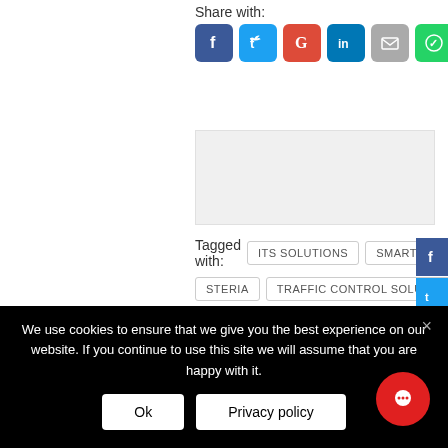Share with:
[Figure (infographic): Social sharing icons: Facebook, Twitter, Google+, LinkedIn, Email, WhatsApp]
[Figure (other): Advertisement placeholder block (grey rectangle)]
Tagged with: ITS SOLUTIONS   SMART TRANSPORT   STERIA   TRAFFIC CONTROL SOLUTION
Previous: BRIEF ENCOUNTERS, ITS will remove a
We use cookies to ensure that we give you the best experience on our website. If you continue to use this site we will assume that you are happy with it.
Ok
Privacy policy